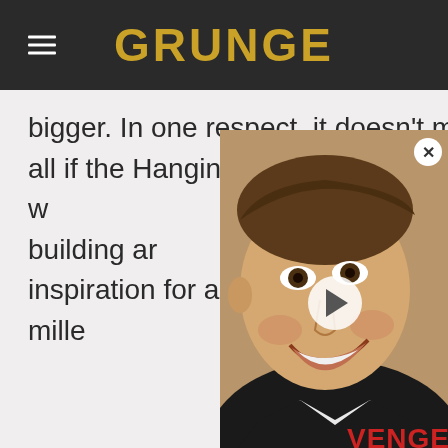GRUNGE
bigger. In one respect, it doesn't matter at all if the Hanging Gardens of Babylon w... of this magnificent building ar... the inspiration for all the mille... come since.
[Figure (screenshot): Video overlay thumbnail showing a smiling man with a play button, and partial text 'VENGE' visible on the right side. A close (X) button appears in the top right corner.]